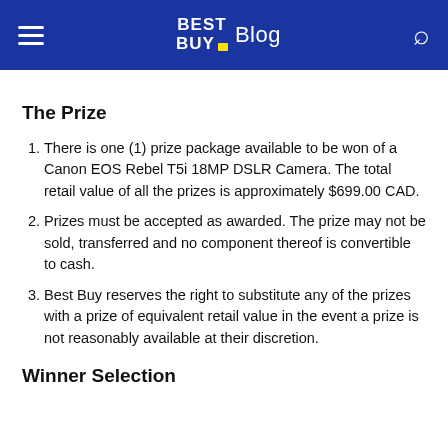Best Buy Blog
The Prize
There is one (1) prize package available to be won of a Canon EOS Rebel T5i 18MP DSLR Camera. The total retail value of all the prizes is approximately $699.00 CAD.
Prizes must be accepted as awarded. The prize may not be sold, transferred and no component thereof is convertible to cash.
Best Buy reserves the right to substitute any of the prizes with a prize of equivalent retail value in the event a prize is not reasonably available at their discretion.
Winner Selection